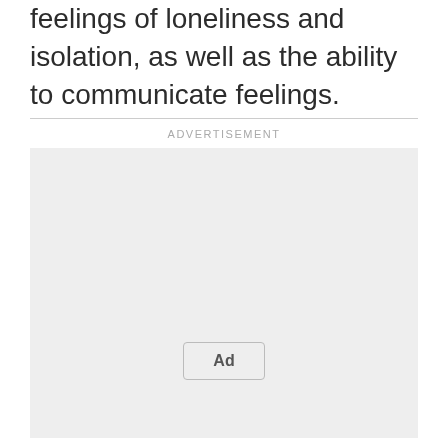feelings of loneliness and isolation, as well as the ability to communicate feelings.
[Figure (other): Advertisement placeholder box with 'ADVERTISEMENT' label above and 'Ad' button in the center-bottom area]